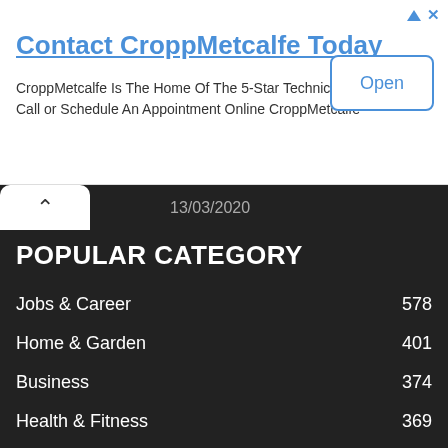[Figure (screenshot): Advertisement banner for CroppMetcalfe with title, body text, and Open button]
Contact CroppMetcalfe Today
CroppMetcalfe Is The Home Of The 5-Star Technician. Call or Schedule An Appointment Online CroppMetcalfe
13/03/2020
POPULAR CATEGORY
Jobs & Career 578
Home & Garden 401
Business 374
Health & Fitness 369
Lifestyle 265
Technology 163
Entertainment 136
Real Estate 131